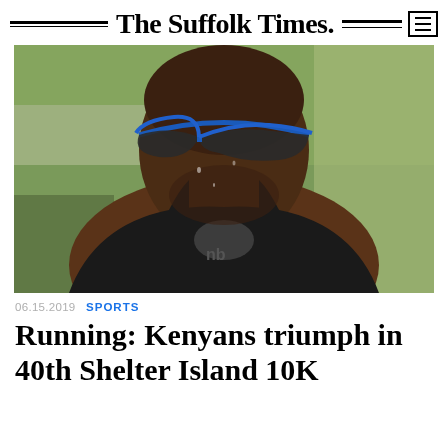The Suffolk Times.
[Figure (photo): Close-up photo of a male runner wearing blue sunglasses and a black New Balance tank top, sweating during a race with green foliage in the background.]
06.15.2019 SPORTS
Running: Kenyans triumph in 40th Shelter Island 10K